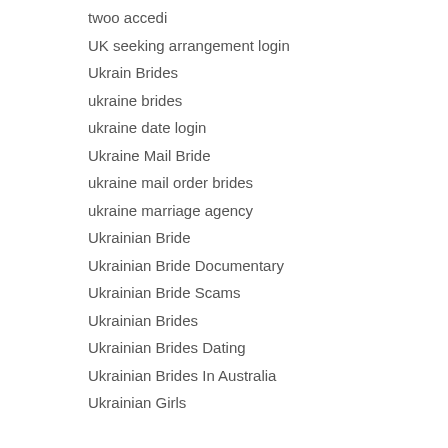twoo accedi
UK seeking arrangement login
Ukrain Brides
ukraine brides
ukraine date login
Ukraine Mail Bride
ukraine mail order brides
ukraine marriage agency
Ukrainian Bride
Ukrainian Bride Documentary
Ukrainian Bride Scams
Ukrainian Brides
Ukrainian Brides Dating
Ukrainian Brides In Australia
Ukrainian Girls